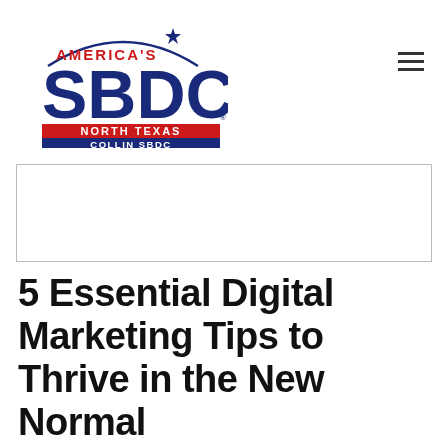[Figure (logo): America's SBDC North Texas Collin SBDC logo with red, white, and blue colors]
[Figure (other): Empty banner/advertisement placeholder box with light border]
5 Essential Digital Marketing Tips to Thrive in the New Normal
Build a Strong Social Media Presence